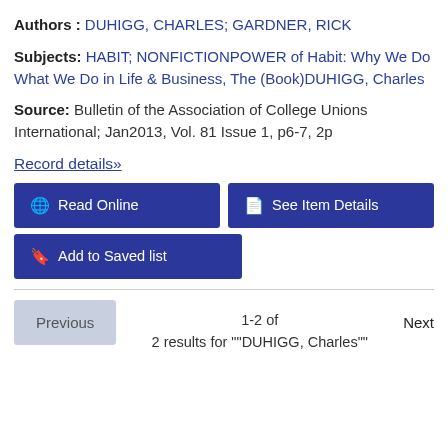Authors : DUHIGG, CHARLES; GARDNER, RICK
Subjects: HABIT; NONFICTIONPOWER of Habit: Why We Do What We Do in Life & Business, The (Book)DUHIGG, Charles
Source: Bulletin of the Association of College Unions International; Jan2013, Vol. 81 Issue 1, p6-7, 2p
Record details»
Read Online
See Item Details
Add to Saved list
Previous
Next
1-2 of
2 results for ""DUHIGG, Charles""